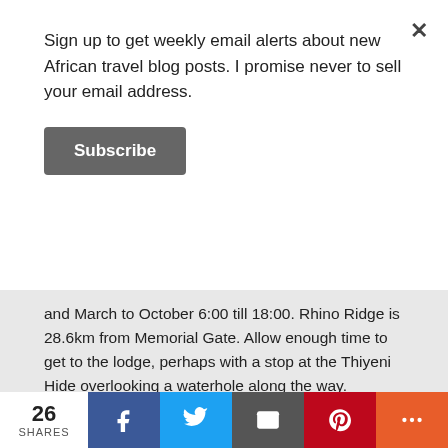Sign up to get weekly email alerts about new African travel blog posts. I promise never to sell your email address.
Subscribe
and March to October 6:00 till 18:00. Rhino Ridge is 28.6km from Memorial Gate. Allow enough time to get to the lodge, perhaps with a stop at the Thiyeni Hide overlooking a waterhole along the way.
Once you leave the main tarred road and turn right at point 7, the roads become rough gravel so make sure you have enough time to go slowly. We did the route in a 4x4 but you should be fine as long as your vehicle has high clearance for the dongas and the low-level bridges across rivers if it has been raining. Low-slung chassis and A-class hired sedans are not recommended
26 SHARES